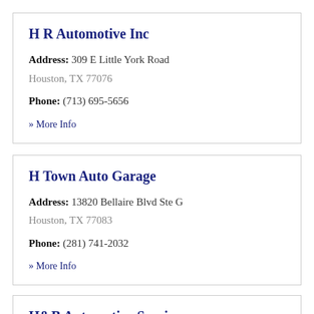H R Automotive Inc
Address: 309 E Little York Road
Houston, TX 77076
Phone: (713) 695-5656
» More Info
H Town Auto Garage
Address: 13820 Bellaire Blvd Ste G
Houston, TX 77083
Phone: (281) 741-2032
» More Info
H&B Automotive Service